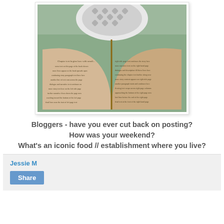[Figure (photo): Open book photographed from above against an outdoor patio chair background, showing text pages spread open.]
Bloggers - have you ever cut back on posting?
How was your weekend?
What's an iconic food // establishment where you live?
Jessie M
Share